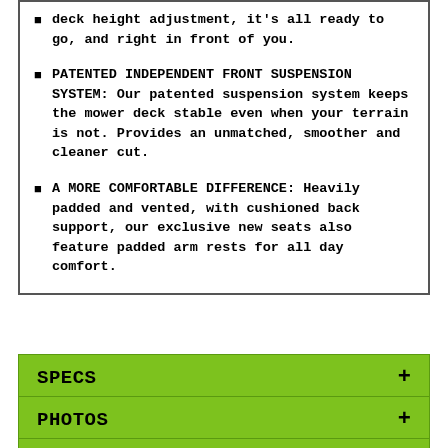deck height adjustment, it's all ready to go, and right in front of you.
PATENTED INDEPENDENT FRONT SUSPENSION SYSTEM: Our patented suspension system keeps the mower deck stable even when your terrain is not. Provides an unmatched, smoother and cleaner cut.
A MORE COMFORTABLE DIFFERENCE: Heavily padded and vented, with cushioned back support, our exclusive new seats also feature padded arm rests for all day comfort.
SPECS
PHOTOS
PROMOTIONS
Due to continued challenges across supplier networks as well as increasing logistics costs, product pricing, freight